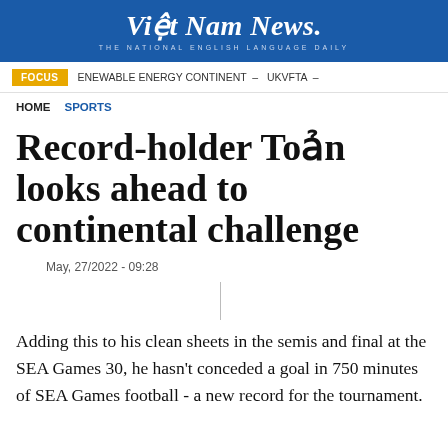Việt Nam News. THE NATIONAL ENGLISH LANGUAGE DAILY
FOCUS  ENEWABLE ENERGY CONTINENT  –  UKVFTA  –
HOME  SPORTS
Record-holder Toản looks ahead to continental challenge
May, 27/2022 - 09:28
Adding this to his clean sheets in the semis and final at the SEA Games 30, he hasn't conceded a goal in 750 minutes of SEA Games football - a new record for the tournament.